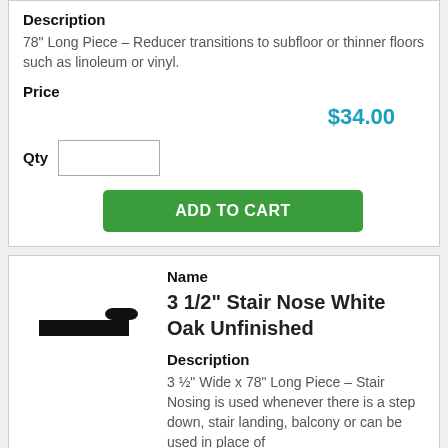Description
78" Long Piece – Reducer transitions to subfloor or thinner floors such as linoleum or vinyl.
Price
$34.00
Qty
ADD TO CART
Name
3 1/2" Stair Nose White Oak Unfinished
Description
3 ½" Wide x 78" Long Piece – Stair Nosing is used whenever there is a step down, stair landing, balcony or can be used in place of
[Figure (illustration): Black silhouette illustration of a stair nose molding profile viewed from the side]